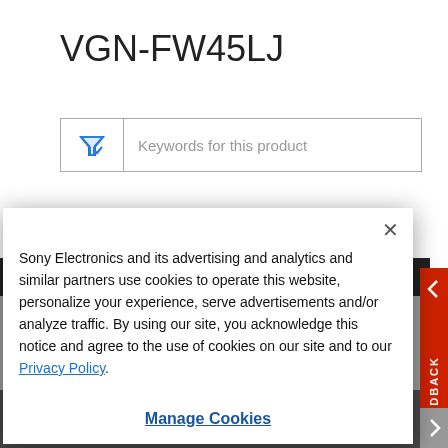VGN-FW45LJ
[Figure (screenshot): Search filter input box with funnel icon and placeholder text 'Keywords for this product']
Careers   Contact Us   Company Info   Voluntary Recall
Sony Electronics and its advertising and analytics and similar partners use cookies to operate this website, personalize your experience, serve advertisements and/or analyze traffic. By using our site, you acknowledge this notice and agree to the use of cookies on our site and to our Privacy Policy.
Manage Cookies